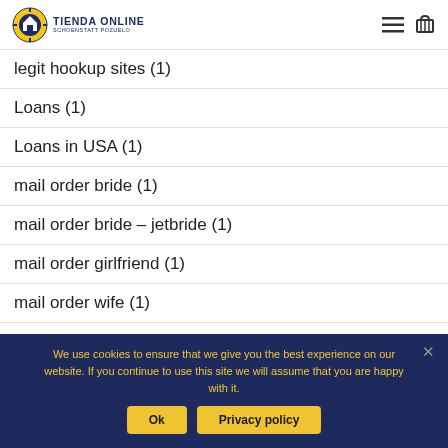TIENDA ONLINE SCHOENSTATT POZUELO
legit hookup sites (1)
Loans (1)
Loans in USA (1)
mail order bride (1)
mail order bride – jetbride (1)
mail order girlfriend (1)
mail order wife (1)
We use cookies to ensure that we give you the best experience on our website. If you continue to use this site we will assume that you are happy with it.